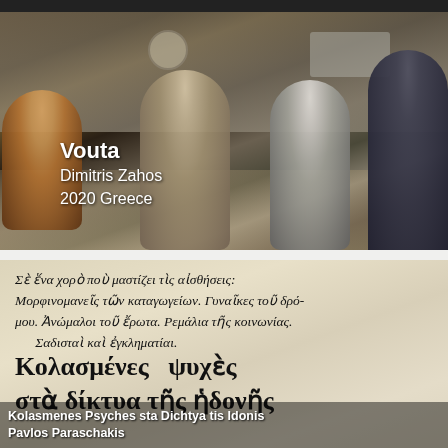[Figure (photo): Film still from 'Vouta' showing several men seated around a table eating, in a kitchen setting. Dark, moody lighting.]
Vouta
Dimitris Zahos
2020 Greece
[Figure (photo): Still or poster image from 'Kolasmenes Psyches sta Dichtya tis Idonis' showing Greek text on aged paper background. Large Greek typography reading 'Κολασμένες ψυχές στά δίκτυα τῆς ἡδονῆς' and smaller text above it.]
Kolasmenes Psyches sta Dichtya tis Idonis
Pavlos Paraschakis